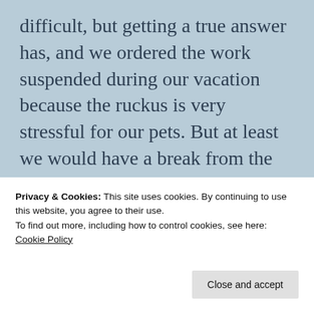difficult, but getting a true answer has, and we ordered the work suspended during our vacation because the ruckus is very stressful for our pets. But at least we would have a break from the noise and commotion that has consumed our home for the past six weeks.
We kept our eye on the prize…
awaited as we a trip while of
Privacy & Cookies: This site uses cookies. By continuing to use this website, you agree to their use.
To find out more, including how to control cookies, see here: Cookie Policy